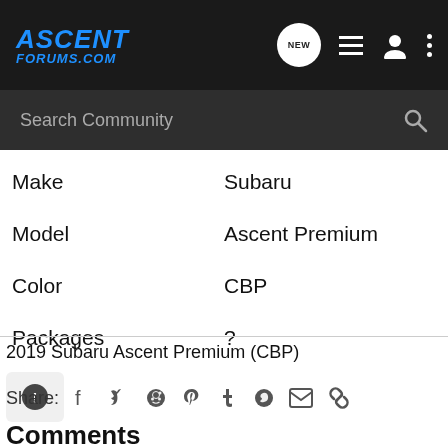[Figure (logo): Ascent Forums .com logo in blue italic font on dark background nav bar with icons: NEW bubble, list, user, dots]
Search Community
| Make | Subaru |
| Model | Ascent Premium |
| Color | CBP |
| Packages | ? |
2019 Subaru Ascent Premium (CBP)
Share:
Comments